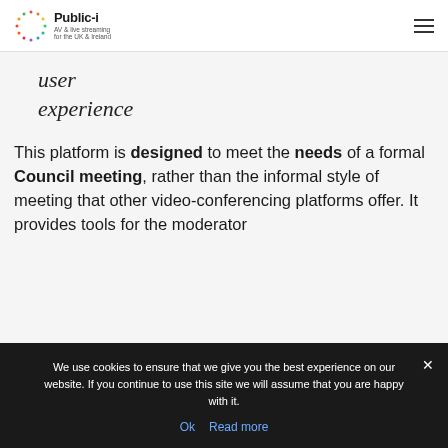Public-i | AV & live streaming for the UK & Ireland
user experience
This platform is designed to meet the needs of a formal Council meeting, rather than the informal style of meeting that other video-conferencing platforms offer. It provides tools for the moderator
We use cookies to ensure that we give you the best experience on our website. If you continue to use this site we will assume that you are happy with it.
Ok   Read more